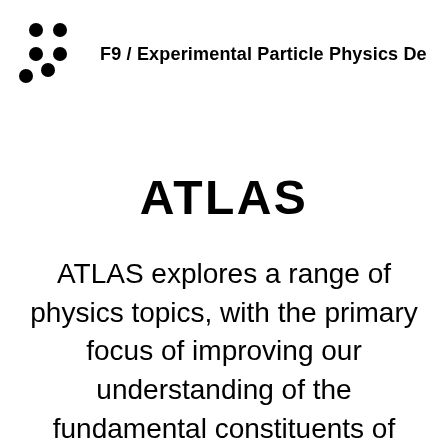F9 / Experimental Particle Physics De
ATLAS
ATLAS explores a range of physics topics, with the primary focus of improving our understanding of the fundamental constituents of matter.